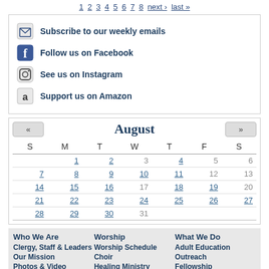1 2 3 4 5 6 7 8 next › last »
Subscribe to our weekly emails
Follow us on Facebook
See us on Instagram
Support us on Amazon
| S | M | T | W | T | F | S |
| --- | --- | --- | --- | --- | --- | --- |
|  |  |  |  | 1 (linked) | 2 (linked) | 3 | 4 (linked) | 5 | 6 |
| 7 (linked) | 8 (linked) | 9 (linked) | 10 (linked) | 11 (linked) | 12 | 13 |
| 14 (linked) | 15 (linked) | 16 (linked) | 17 | 18 (linked) | 19 (linked) | 20 |
| 21 (linked) | 22 (linked) | 23 (linked) | 24 (linked) | 25 (linked) | 26 (linked) | 27 (linked) |
| 28 (linked) | 29 (linked) | 30 (linked) | 31 |  |  |  |
Who We Are | Worship | What We Do
Clergy, Staff & Leaders | Worship Schedule | Adult Education
Our Mission | Choir | Outreach
Photos & Video | Healing Ministry | Fellowship